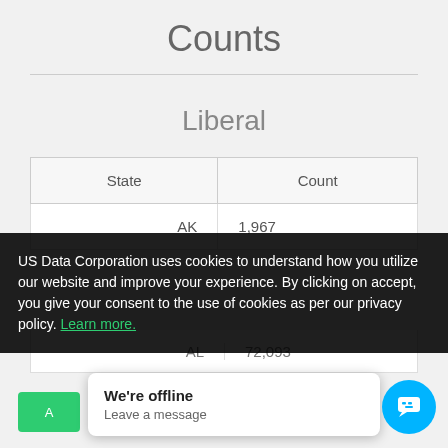Counts
Liberal
| State | Count |
| --- | --- |
| AK | 1,967 |
| AL | 72,093 |
| AR | 35,464 |
US Data Corporation uses cookies to understand how you utilize our website and improve your experience. By clicking on accept, you give your consent to the use of cookies as per our privacy policy. Learn more.
We're offline
Leave a message